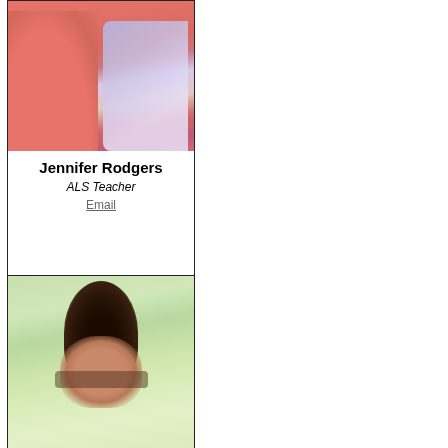[Figure (photo): Photo of Jennifer Rodgers wearing a coral/salmon colored t-shirt with decorative text, partially cropped showing torso]
Jennifer Rodgers
ALS Teacher
Email
[Figure (photo): Photo of a woman with dark hair, glasses, smiling, photographed outdoors with green blurred background]